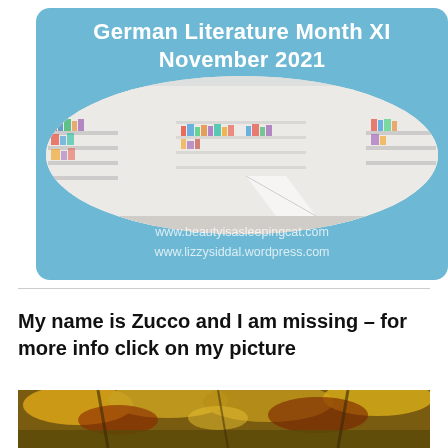[Figure (other): German Literature Month XI November 2021 promotional banner on light blue background with oval library image and website URLs]
My name is Zucco and I am missing – for more info click on my picture
[Figure (photo): Partial photo of a garden scene with autumn foliage, yellows and reds, cropped at bottom of page]